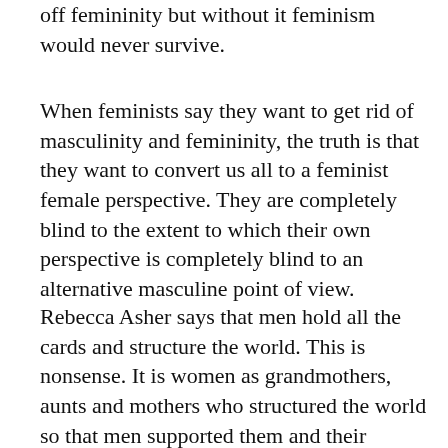off femininity but without it feminism would never survive.
When feminists say they want to get rid of masculinity and femininity, the truth is that they want to convert us all to a feminist female perspective. They are completely blind to the extent to which their own perspective is completely blind to an alternative masculine point of view.
Rebecca Asher says that men hold all the cards and structure the world. This is nonsense. It is women as grandmothers, aunts and mothers who structured the world so that men supported them and their children. And where men did so, families thrived. When men gave women control over their own fertility, through the Pill, women set about restructuring the world of work and family. Men, ever loyal and